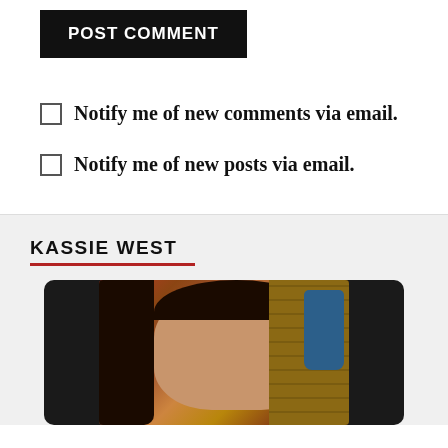POST COMMENT
Notify me of new comments via email.
Notify me of new posts via email.
KASSIE WEST
[Figure (photo): Author photo of Kassie West — a woman with long dark hair smiling, with a brick wall background and a blue vase with flowers on the right side. The photo is set in a dark rounded frame.]